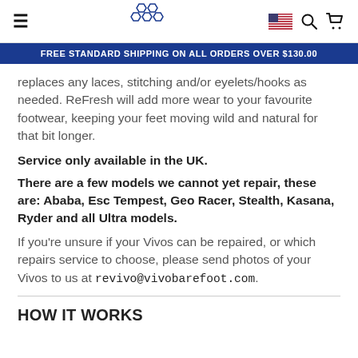Navigation bar with hamburger menu, logo, US flag, search and cart icons
FREE STANDARD SHIPPING ON ALL ORDERS OVER $130.00
replaces any laces, stitching and/or eyelets/hooks as needed. ReFresh will add more wear to your favourite footwear, keeping your feet moving wild and natural for that bit longer.
Service only available in the UK.
There are a few models we cannot yet repair, these are: Ababa, Esc Tempest, Geo Racer, Stealth, Kasana, Ryder and all Ultra models.
If you're unsure if your Vivos can be repaired, or which repairs service to choose, please send photos of your Vivos to us at revivo@vivobarefoot.com.
HOW IT WORKS